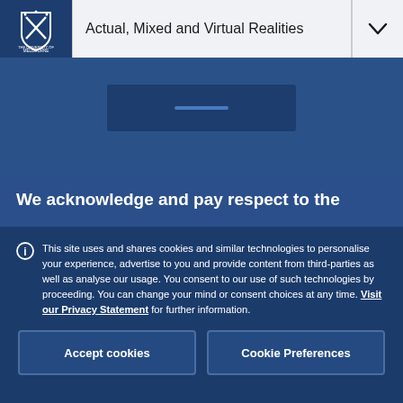Actual, Mixed and Virtual Realities
[Figure (screenshot): University of Melbourne website header with navigation showing 'Actual, Mixed and Virtual Realities' title and a blue hero banner with a button element]
We acknowledge and pay respect to the
This site uses and shares cookies and similar technologies to personalise your experience, advertise to you and provide content from third-parties as well as analyse our usage. You consent to our use of such technologies by proceeding. You can change your mind or consent choices at any time. Visit our Privacy Statement for further information.